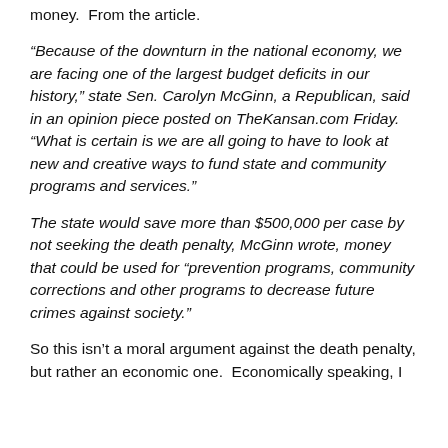money.  From the article.
“Because of the downturn in the national economy, we are facing one of the largest budget deficits in our history,” state Sen. Carolyn McGinn, a Republican, said in an opinion piece posted on TheKansan.com Friday. “What is certain is we are all going to have to look at new and creative ways to fund state and community programs and services.”
The state would save more than $500,000 per case by not seeking the death penalty, McGinn wrote, money that could be used for “prevention programs, community corrections and other programs to decrease future crimes against society.”
So this isn’t a moral argument against the death penalty, but rather an economic one.  Economically speaking, I